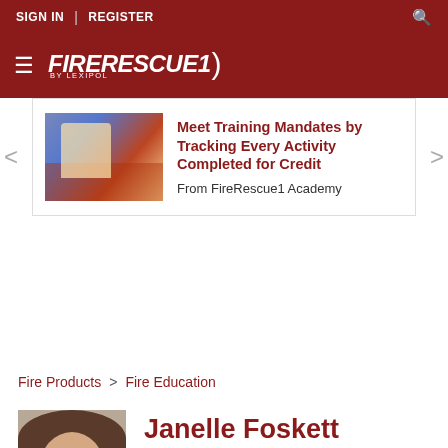SIGN IN | REGISTER
[Figure (logo): FireRescue1 by Lexipol logo on dark red background with hamburger menu icon]
[Figure (photo): Firefighter spraying water hose, promotional image for FireRescue1 Academy training]
Meet Training Mandates by Tracking Every Activity Completed for Credit
From FireRescue1 Academy
Fire Products > Fire Education
[Figure (photo): Headshot of Janelle Foskett, a woman with brown hair]
Janelle Foskett
Fire Proof